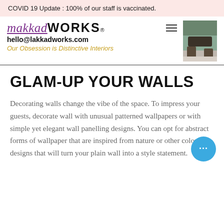COVID 19 Update : 100% of our staff is vaccinated.
[Figure (logo): LakkadWORKS logo with purple italic makkad text underlined, bold WORKS text, registered trademark symbol, email hello@lakkadworks.com, and tagline 'Our Obsession is Distinctive Interiors' in gold italic]
[Figure (photo): Interior room photo showing furniture on tiled/marble floor, top-right corner of page]
GLAM-UP YOUR WALLS
Decorating walls change the vibe of the space. To impress your guests, decorate wall with unusual patterned wallpapers or with simple yet elegant wall panelling designs. You can opt for abstract forms of wallpaper that are inspired from nature or other colourful designs that will turn your plain wall into a style statement.